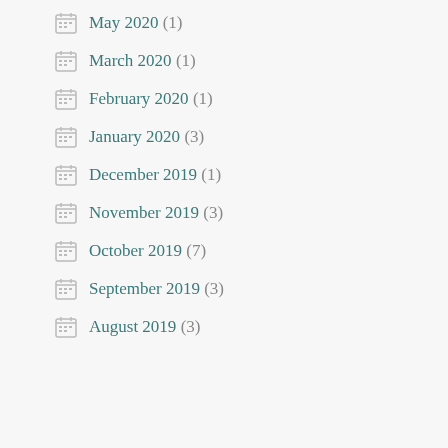May 2020 (1)
March 2020 (1)
February 2020 (1)
January 2020 (3)
December 2019 (1)
November 2019 (3)
October 2019 (7)
September 2019 (3)
August 2019 (3)
Privacy & Cookies: This site uses cookies. By continuing to use this website, you agree to their use.
To find out more, including how to control cookies, see here: Cookie Policy
Close and accept